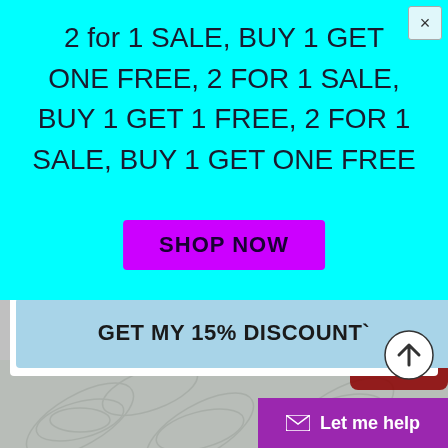[Figure (screenshot): Background webpage with textile product image (gray fabric with palm leaf pattern and dark red object visible at top right), an input bar, and a blue 'GET MY 15% DISCOUNT`' button on a white card]
[Figure (screenshot): Cyan popup overlay with promotional text '2 for 1 SALE, BUY 1 GET ONE FREE, 2 FOR 1 SALE, BUY 1 GET 1 FREE, 2 FOR 1 SALE, BUY 1 GET ONE FREE', a magenta SHOP NOW button, and a close X button]
2 for 1 SALE, BUY 1 GET ONE FREE, 2 FOR 1 SALE, BUY 1 GET 1 FREE, 2 FOR 1 SALE, BUY 1 GET ONE FREE
SHOP NOW
GET MY 15% DISCOUNT`
Let me help